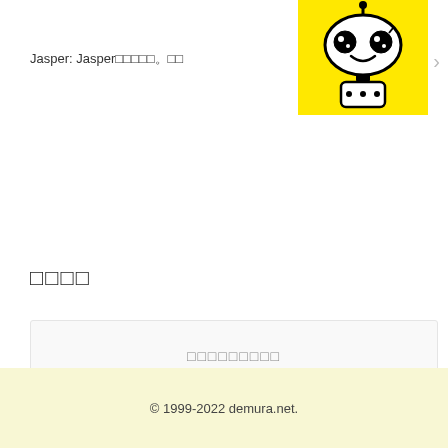Jasper: Jasper□□□○□□
[Figure (illustration): Cute robot character on yellow background with big eyes and smile]
□□□□
□□□□□□□□□
🏠 □□ > 📁 english
© 1999-2022 demura.net.